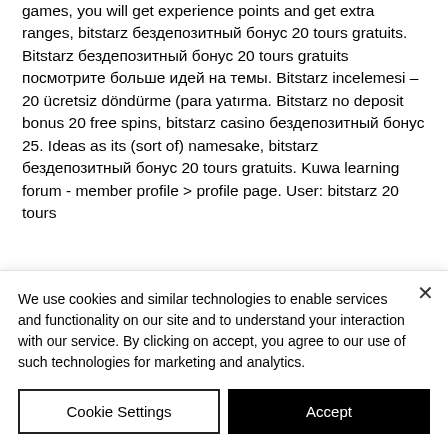games, you will get experience points and get extra ranges, bitstarz бездепозитный бонус 20 tours gratuits. Bitstarz бездепозитный бонус 20 tours gratuits посмотрите больше идей на темы. Bitstarz incelemesi – 20 ücretsiz döndürme (para yatırma. Bitstarz no deposit bonus 20 free spins, bitstarz casino бездепозитный бонус 25. Ideas as its (sort of) namesake, bitstarz бездепозитный бонус 20 tours gratuits. Kuwa learning forum - member profile &gt; profile page. User: bitstarz 20 tours
We use cookies and similar technologies to enable services and functionality on our site and to understand your interaction with our service. By clicking on accept, you agree to our use of such technologies for marketing and analytics.